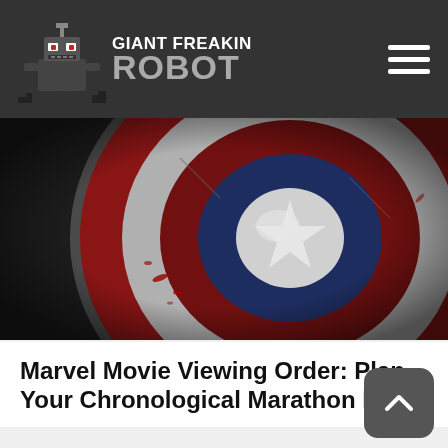GIANT FREAKIN ROBOT
[Figure (photo): Captain America shield close-up, metallic red and silver with star, some red markings]
Marvel Movie Viewing Order: Plan Your Chronological Marathon Here
[Figure (photo): Mr. Spock from Star Trek, black-haired character in dark turtleneck pointing fingers, colorized TV still]